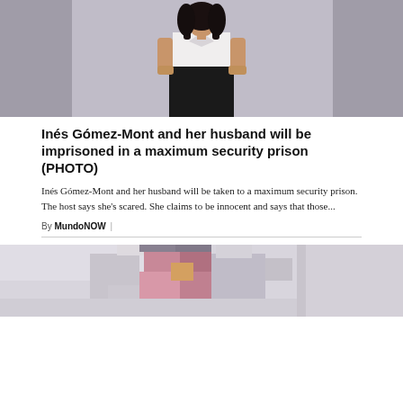[Figure (photo): Woman in white top and black skirt posing against gray background]
Inés Gómez-Mont and her husband will be imprisoned in a maximum security prison (PHOTO)
Inés Gómez-Mont and her husband will be taken to a maximum security prison. The host says she's scared. She claims to be innocent and says that those...
By MundoNOW |
[Figure (photo): Blurred/pixelated image, appears to show a person in a pink/purple outfit]